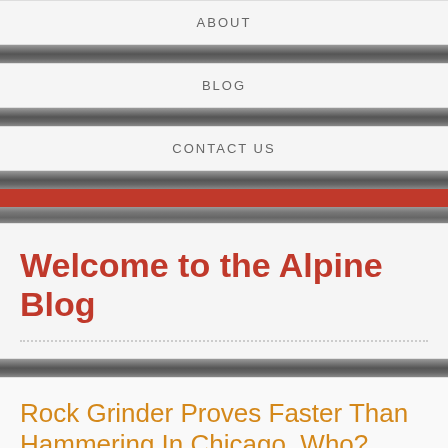ABOUT
BLOG
CONTACT US
Welcome to the Alpine Blog
Rock Grinder Proves Faster Than Hammering In Chicago.  Who? What?